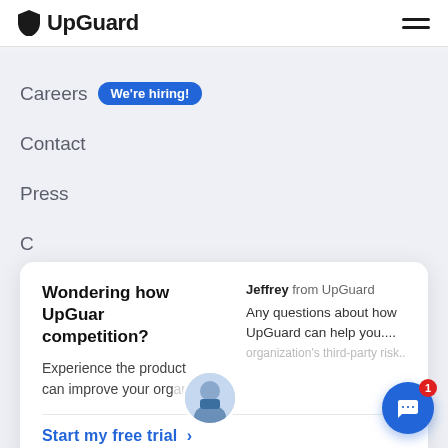[Figure (logo): UpGuard logo with shield/teardrop icon and brand name]
Careers  We're hiring!
Contact
Press
Wondering how UpGuard compares to the competition?
Experience the product and see how it can improve your organization's third-party risk...
Jeffrey from UpGuard
Any questions about how UpGuard can help you....
Start my free trial  >